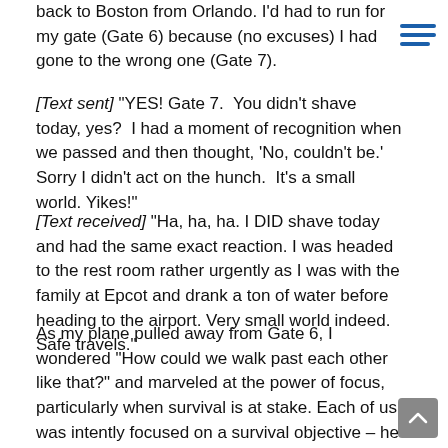back to Boston from Orlando. I'd had to run for my gate (Gate 6) because (no excuses) I had gone to the wrong one (Gate 7).
[Text sent] "YES! Gate 7.  You didn't shave today, yes?  I had a moment of recognition when we passed and then thought, 'No, couldn't be.' Sorry I didn't act on the hunch.  It's a small world. Yikes!"
[Text received] "Ha, ha, ha. I DID shave today and had the same exact reaction. I was headed to the rest room rather urgently as I was with the family at Epcot and drank a ton of water before heading to the airport. Very small world indeed. Safe travels."
As my plane pulled away from Gate 6, I wondered "How could we walk past each other like that?" and marveled at the power of focus, particularly when survival is at stake. Each of us was intently focused on a survival objective – he on quickly reaching the restroom, I on quickly reaching my gate. Each of us registered the other.... and our brains dismissed the moments of recognition.